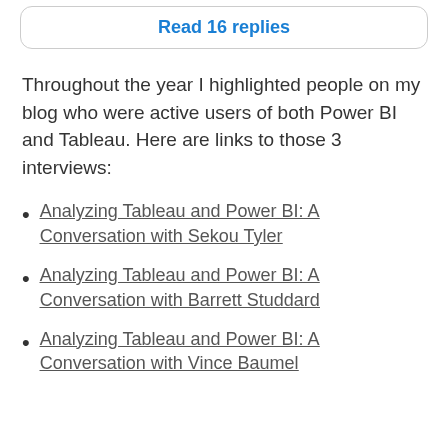Read 16 replies
Throughout the year I highlighted people on my blog who were active users of both Power BI and Tableau. Here are links to those 3 interviews:
Analyzing Tableau and Power BI: A Conversation with Sekou Tyler
Analyzing Tableau and Power BI: A Conversation with Barrett Studdard
Analyzing Tableau and Power BI: A Conversation with Vince Baumel